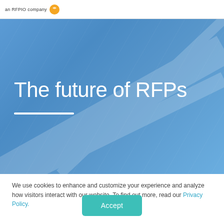an RFPIO company
[Figure (illustration): Blue gradient hero banner with diagonal light ray texture pattern]
The future of RFPs
We use cookies to enhance and customize your experience and analyze how visitors interact with our website. To find out more, read our Privacy Policy.
Accept